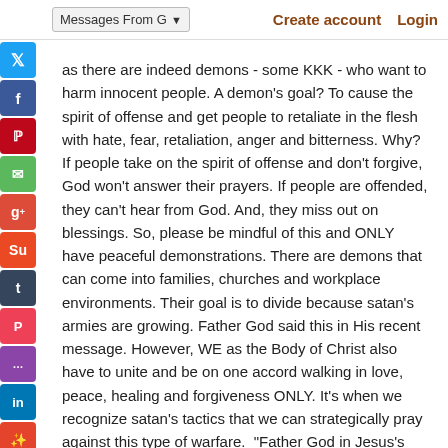Messages From Gο∨ | Create account | Login
as there are indeed demons - some KKK - who want to harm innocent people. A demon's goal? To cause the spirit of offense and get people to retaliate in the flesh with hate, fear, retaliation, anger and bitterness. Why? If people take on the spirit of offense and don't forgive, God won't answer their prayers. If people are offended, they can't hear from God. And, they miss out on blessings. So, please be mindful of this and ONLY have peaceful demonstrations. There are demons that can come into families, churches and workplace environments. Their goal is to divide because satan's armies are growing. Father God said this in His recent message. However, WE as the Body of Christ also have to unite and be on one accord walking in love, peace, healing and forgiveness ONLY. It's when we recognize satan's tactics that we can strategically pray against this type of warfare.  "Father God in Jesus's name, Lord, we give You all the glory, honor and praise.